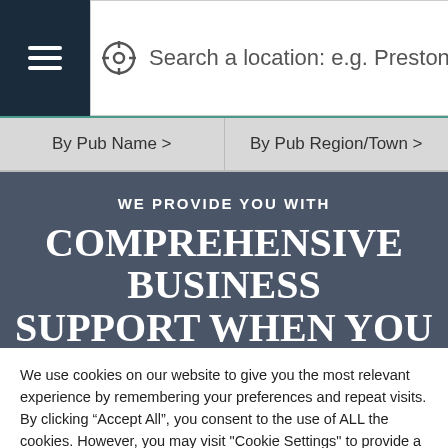[Figure (screenshot): Navigation bar with hamburger menu button (dark navy), location search bar with target/locator icon and placeholder text 'Search a location: e.g. Preston, PR', and a search icon button]
[Figure (screenshot): Two navigation tabs: 'By Pub Name >' and 'By Pub Region/Town >' on grey background]
[Figure (screenshot): Dark blue-grey hero banner with text 'WE PROVIDE YOU WITH' and 'COMPREHENSIVE BUSINESS' and partially visible 'SUPPORT WHEN YOU NEED IT']
We use cookies on our website to give you the most relevant experience by remembering your preferences and repeat visits. By clicking “Accept All”, you consent to the use of ALL the cookies. However, you may visit "Cookie Settings" to provide a controlled consent.
Cookie Settings | Accept All